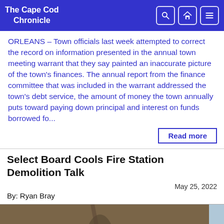The Cape Cod Chronicle
ORLEANS – Town officials last week attempted to correct the record on information presented in the annual town meeting warrant that they say painted an inaccurate picture of the town's finances. The annual report from the finance committee that was included in the warrant addressed the town's debt service, the amount of money the town annually puts toward paying down principal and interest on funds borrowed fo...
Read more
Select Board Cools Fire Station Demolition Talk
May 25, 2022
By: Ryan Bray
[Figure (photo): Partial view of a photo, showing a brown/tan background with a partial figure visible, and a light blue section on the right edge.]